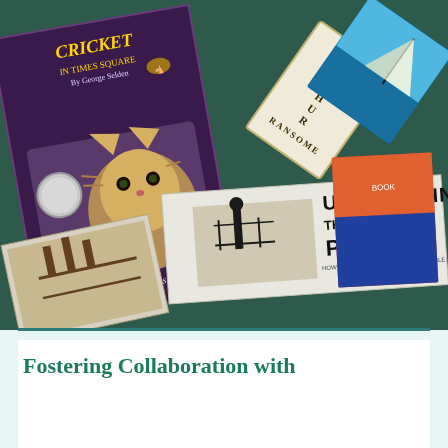[Figure (photo): A photograph of a pile of children's books including 'Cricket in Times Square' by George Selden illustrated by Garth Williams, 'Arthur Ransome' book, 'Unwrapping the Pharaoh', and other books on a dark teal background.]
Fostering Collaboration with